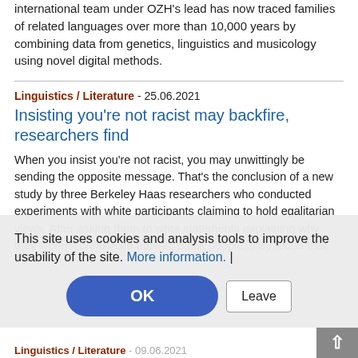international team under OZH's lead has now traced families of related languages over more than 10,000 years by combining data from genetics, linguistics and musicology using novel digital methods.
Linguistics / Literature - 25.06.2021
Insisting you're not racist may backfire, researchers find
When you insist you're not racist, you may unwittingly be sending the opposite message. That's the conclusion of a new study by three Berkeley Haas researchers who conducted experiments with white participants claiming to hold egalitarian views. After asking them to write statements explaining why they weren't prejudiced against Black people, they found that
This site uses cookies and analysis tools to improve the usability of the site. More information. |
OK
Leave
Linguistics / Literature - 09.06.2021